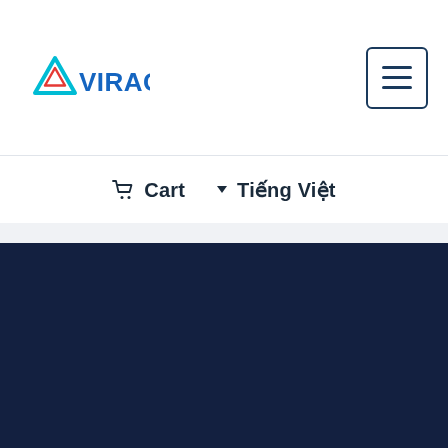[Figure (logo): AVIRAC logo with blue triangle and red/blue text]
[Figure (other): Hamburger menu button (three horizontal lines in a rounded square border)]
Cart  Tiếng Việt
[Figure (other): Dark navy blue background section (footer/content area)]